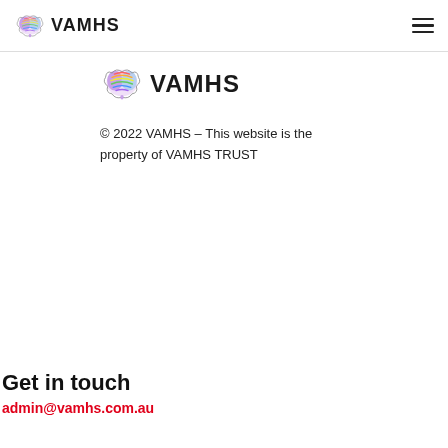VAMHS [logo] — navigation bar with hamburger menu
[Figure (logo): VAMHS colorful brain logo with text VAMHS in bold black]
© 2022 VAMHS – This website is the property of VAMHS TRUST
Get in touch
admin@vamhs.com.au